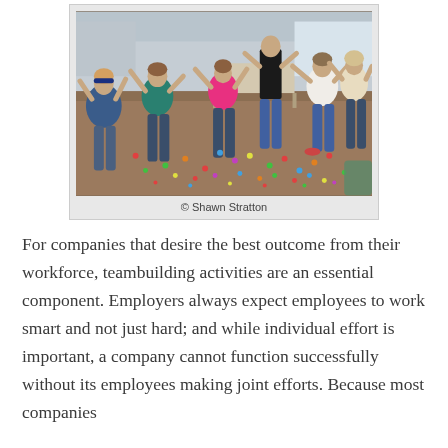[Figure (photo): Indoor team building activity showing a group of people in a large room playing a game with small colorful balls scattered on the floor. People are in motion, some throwing or dodging. Room has tables and chairs in the background.]
© Shawn Stratton
For companies that desire the best outcome from their workforce, teambuilding activities are an essential component. Employers always expect employees to work smart and not just hard; and while individual effort is important, a company cannot function successfully without its employees making joint efforts. Because most companies